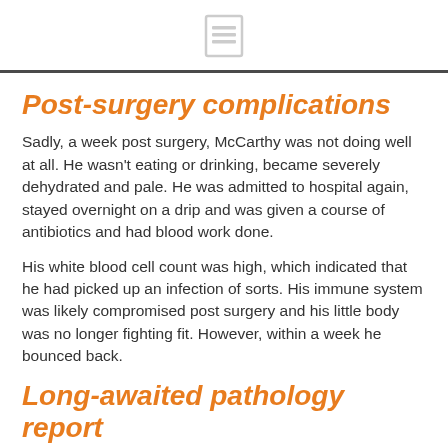[document icon]
Post-surgery complications
Sadly, a week post surgery, McCarthy was not doing well at all. He wasn't eating or drinking, became severely dehydrated and pale. He was admitted to hospital again, stayed overnight on a drip and was given a course of antibiotics and had blood work done.
His white blood cell count was high, which indicated that he had picked up an infection of sorts. His immune system was likely compromised post surgery and his little body was no longer fighting fit. However, within a week he bounced back.
Long-awaited pathology report